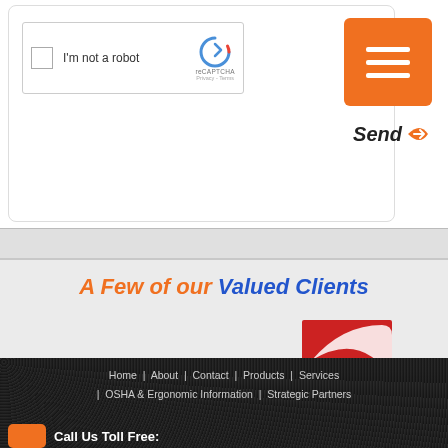[Figure (screenshot): reCAPTCHA checkbox widget with 'I'm not a robot' label and reCAPTCHA logo]
[Figure (screenshot): Orange send button with hamburger menu icon]
A Few of our Valued Clients
[Figure (logo): ACCO Brands logo]
Home | About | Contact | Products | Services | OSHA & Ergonomic Information | Strategic Partners
Call Us Toll Free: